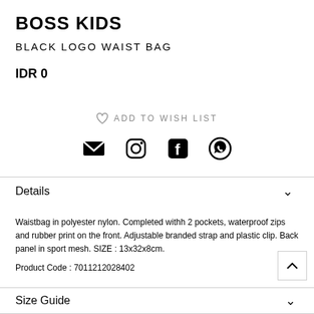BOSS KIDS
BLACK LOGO WAIST BAG
IDR 0
ADD TO WISH LIST
Details
Waistbag in polyester nylon. Completed withh 2 pockets, waterproof zips and rubber print on the front. Adjustable branded strap and plastic clip. Back panel in sport mesh. SIZE : 13x32x8cm.
Product Code : 7011212028402
Size Guide